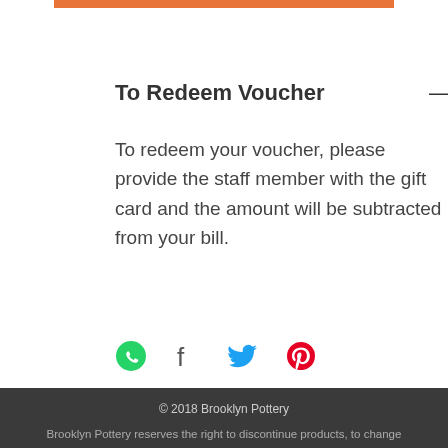To Redeem Voucher
To redeem your voucher, please provide the staff member with the gift card and the amount will be subtracted from your bill.
[Figure (infographic): Social sharing icons: WhatsApp (green), Facebook (dark), Twitter (blue), Pinterest (pink/red)]
© 2018 Brooklyn Pottery

Brooklyn Pottery reserves the right to discontinue products, to change specifications or price of its products at any time without notice and without incurring any obligation whatsoever. All underglazes, glazes and paints used by Brooklyn Pottery are water soluble (unless